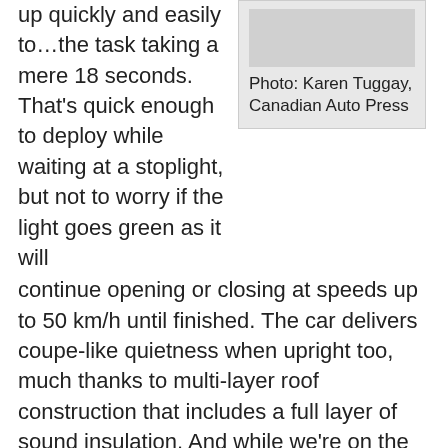up quickly and easily to…the task taking a mere 18 seconds. That's quick enough to deploy while waiting at a stoplight, but not to worry if the light goes green as it will continue opening or closing at speeds up to 50 km/h until finished. The car delivers coupe-like quietness when upright too, much thanks to multi-layer roof construction that includes a full layer of sound insulation. And while we're on the subject of soft sound absorbent roofs, the A3 is protected during rollover collisions via a reinforced windshield frame and active roll bar-like plates positioned behind the rear seats that instantly spring into place when a rollover is detected.
[Figure (photo): Photo placeholder with caption: Photo: Karen Tuggay, Canadian Auto Press]
Photo: Karen Tuggay, Canadian Auto Press
For something so utile it certainly looks good. The